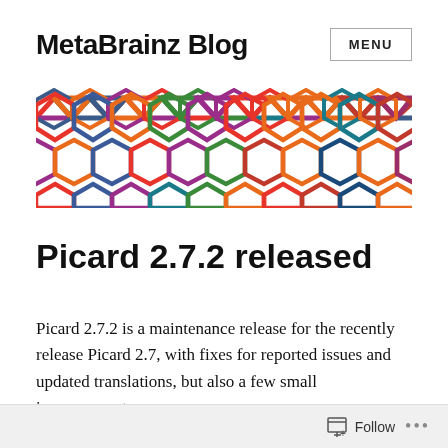MetaBrainz Blog
[Figure (logo): MetaBrainz colorful hexagonal chain logo banner with interlocking hexagons in various colors including orange, red, purple, green, teal, and blue]
Picard 2.7.2 released
Picard 2.7.2 is a maintenance release for the recently release Picard 2.7, with fixes for reported issues and updated translations, but also a few small improvements.
Follow ...